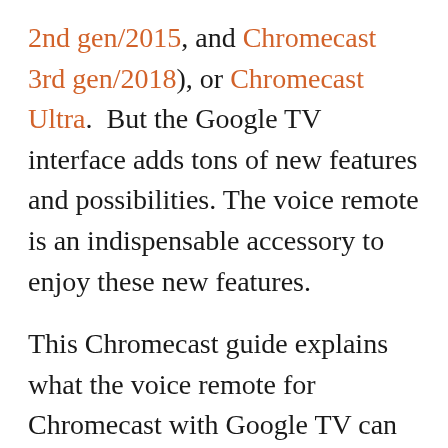2nd gen/2015, and Chromecast 3rd gen/2018), or Chromecast Ultra.  But the Google TV interface adds tons of new features and possibilities. The voice remote is an indispensable accessory to enjoy these new features.
This Chromecast guide explains what the voice remote for Chromecast with Google TV can do, the layout of the voice remote and the functions of each button/part, and how to control Chromecast with Google TV if you cannot find the voice remote.